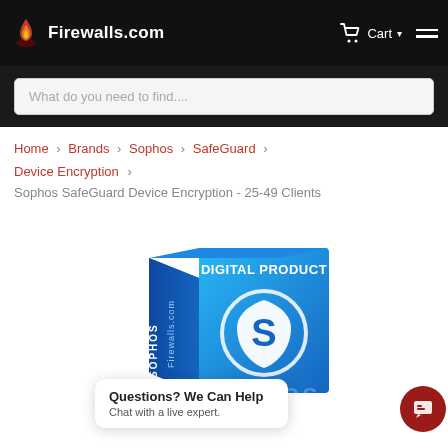Firewalls.com — Cart — Navigation
What do you need to find....
Home > Brands > Sophos > SafeGuard > Device Encryption >
Sophos SafeGuard Device Encryption - 25-49 Clients
[Figure (photo): Sophos SafeGuard Device Encryption digital product box with blue gradient design, Sophos shield logo, and Firewalls.com branding]
Questions? We Can Help
Chat with a live expert.